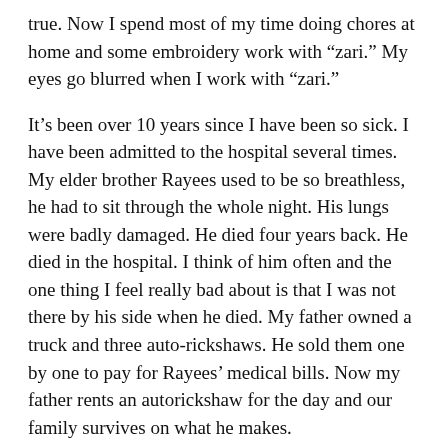true. Now I spend most of my time doing chores at home and some embroidery work with “zari.” My eyes go blurred when I work with “zari.”
It’s been over 10 years since I have been so sick. I have been admitted to the hospital several times. My elder brother Rayees used to be so breathless, he had to sit through the whole night. His lungs were badly damaged. He died four years back. He died in the hospital. I think of him often and the one thing I feel really bad about is that I was not there by his side when he died. My father owned a truck and three auto-rickshaws. He sold them one by one to pay for Rayees’ medical bills. Now my father rents an autorickshaw for the day and our family survives on what he makes.
For the last one month he has been sick in bed and I am taking care of household expenses through my “zari” work. My mother Aneesa too is sick. She is breathless, has chest pain and pain in the stomach, and she has swelling in her limbs. She has